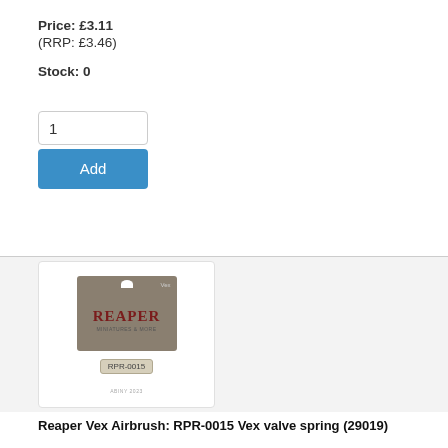Price: £3.11
(RRP: £3.46)
Stock: 0
1
Add
[Figure (photo): Product packaging image for Reaper Vex Airbrush RPR-0015 Vex valve spring, showing a small brown/tan retail blister card with REAPER logo and RPR-0015 label tag]
Reaper Vex Airbrush: RPR-0015 Vex valve spring (29019)